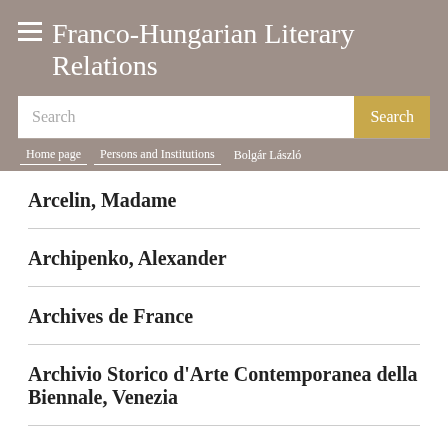Franco-Hungarian Literary Relations
Search
Home page / Persons and Institutions / Bolgár László
Arcelin, Madame
Archipenko, Alexander
Archives de France
Archivio Storico d'Arte Contemporanea della Biennale, Venezia